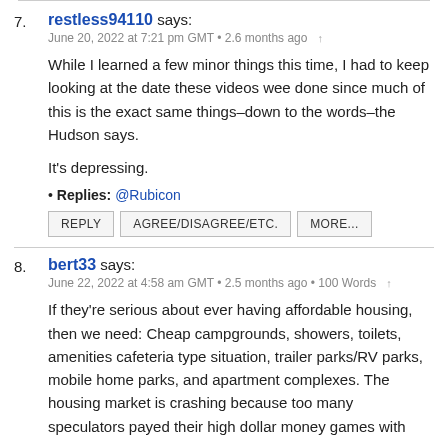7. restless94110 says:
June 20, 2022 at 7:21 pm GMT • 2.6 months ago ↑

While I learned a few minor things this time, I had to keep looking at the date these videos wee done since much of this is the exact same things–down to the words–the Hudson says.

It's depressing.

• Replies: @Rubicon

REPLY  AGREE/DISAGREE/ETC.  MORE...
8. bert33 says:
June 22, 2022 at 4:58 am GMT • 2.5 months ago • 100 Words ↑

If they're serious about ever having affordable housing, then we need: Cheap campgrounds, showers, toilets, amenities cafeteria type situation, trailer parks/RV parks, mobile home parks, and apartment complexes. The housing market is crashing because too many speculators payed their high dollar money games with